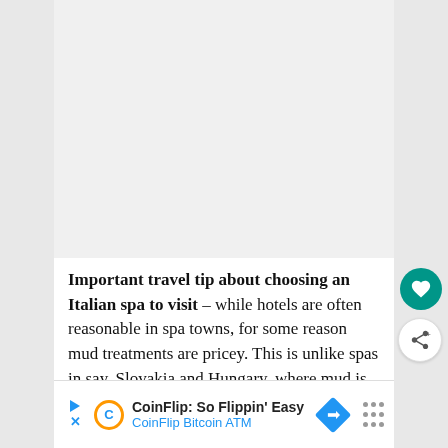[Figure (other): Large blank/white image area at top of article page]
Important travel tip about choosing an Italian spa to visit – while hotels are often reasonable in spa towns, for some reason mud treatments are pricey. This is unlike spas in say, Slovakia and Hungary, where mud is, ha ha, dirt
[Figure (other): Advertisement banner: CoinFlip: So Flippin' Easy / CoinFlip Bitcoin ATM]